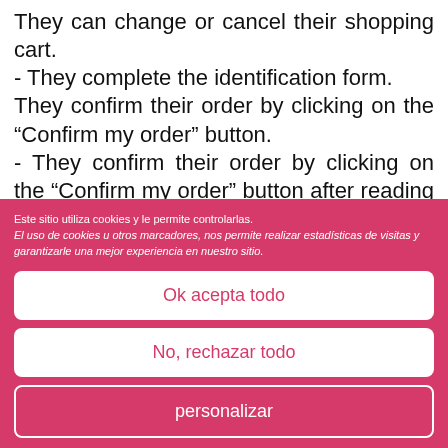They can change or cancel their shopping cart. - They complete the identification form. They confirm their order by clicking on the "Confirm my order" button. - They confirm their order by clicking on the "Confirm my order" button after reading the T&Cs and ticked the box: "I have read and accept the T&Cs".
Este sitio utiliza cookies y le permite controlarlas. El uso de cookies u otros marcadores, nos permite realizar estadísticas de visitas y garantizarle una mejor experiencia en nuestro sitio.
Ok acepta todo
No, rechazar todo
personalizar